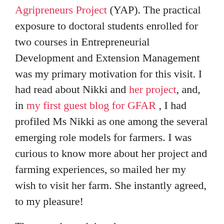Agripreneurs Project (YAP). The practical exposure to doctoral students enrolled for two courses in Entrepreneurial Development and Extension Management was my primary motivation for this visit. I had read about Nikki and her project, and, in my first guest blog for GFAR , I had profiled Ms Nikki as one among the several emerging role models for farmers. I was curious to know more about her project and farming experiences, so mailed her my wish to visit her farm. She instantly agreed, to my pleasure!
These students doing the course on Entrepreneurship Development and Extension Management were theoretically oriented on entrepreneurship through classroom lectures. I have been coordinating this compulsory audit course